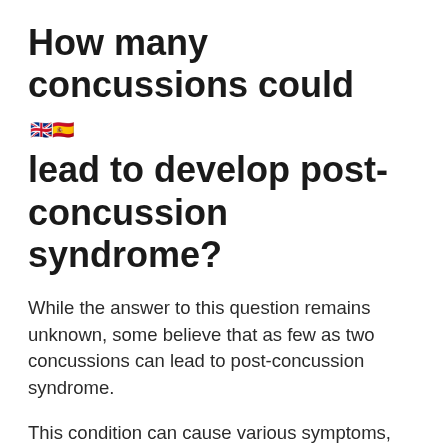How many concussions could lead to develop post-concussion syndrome?
While the answer to this question remains unknown, some believe that as few as two concussions can lead to post-concussion syndrome.
This condition can cause various symptoms, including headaches, dizziness, and fatigue, lasting for weeks, months, or even years.
Researchers believe that the severity of post-concussion syndrome is related to the number of